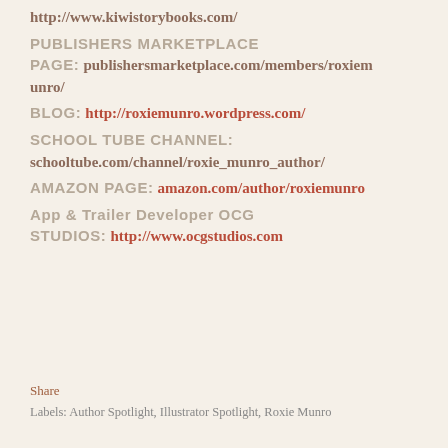http://www.kiwistorybooks.com/
PUBLISHERS MARKETPLACE PAGE: publishersmarketplace.com/members/roxiemunro/
BLOG: http://roxiemunro.wordpress.com/
SCHOOL TUBE CHANNEL: schooltube.com/channel/roxie_munro_author/
AMAZON PAGE: amazon.com/author/roxiemunro
App & Trailer Developer OCG STUDIOS: http://www.ocgstudios.com
Share
Labels: Author Spotlight, Illustrator Spotlight, Roxie Munro